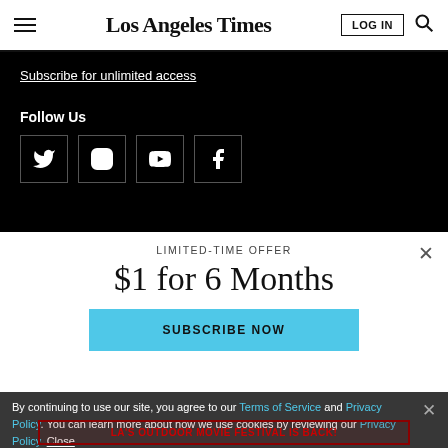Los Angeles Times
Subscribe for unlimited access
Follow Us
[Figure (other): Social media icons: Twitter, Instagram, YouTube, Facebook in white-bordered boxes on black background]
LIMITED-TIME OFFER
$1 for 6 Months
SUBSCRIBE NOW
By continuing to use our site, you agree to our Terms of Service and Privacy Policy. You can learn more about how we use cookies by reviewing our Privacy Policy. Close
LA'S OUTDOOR MOVIE FESTIVAL IS BACK!